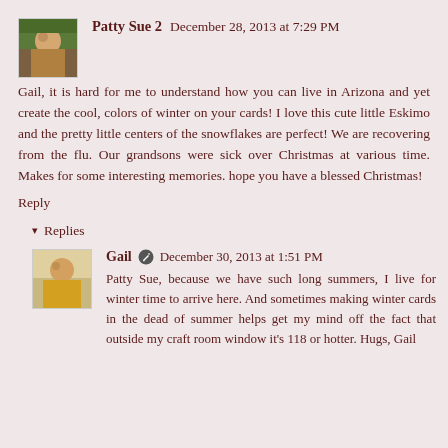[Figure (photo): Avatar photo of Patty Sue 2, a person outdoors]
Patty Sue 2 December 28, 2013 at 7:29 PM
Gail, it is hard for me to understand how you can live in Arizona and yet create the cool, colors of winter on your cards! I love this cute little Eskimo and the pretty little centers of the snowflakes are perfect! We are recovering from the flu. Our grandsons were sick over Christmas at various time. Makes for some interesting memories. hope you have a blessed Christmas!
Reply
Replies
[Figure (photo): Avatar photo of Gail, a person in a yellow top]
Gail December 30, 2013 at 1:51 PM
Patty Sue, because we have such long summers, I live for winter time to arrive here. And sometimes making winter cards in the dead of summer helps get my mind off the fact that outside my craft room window it's 118 or hotter. Hugs, Gail